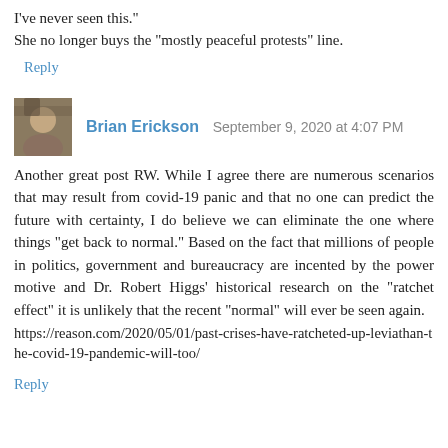I've never seen this."
She no longer buys the “mostly peaceful protests” line.
Reply
Brian Erickson  September 9, 2020 at 4:07 PM
Another great post RW. While I agree there are numerous scenarios that may result from covid-19 panic and that no one can predict the future with certainty, I do believe we can eliminate the one where things "get back to normal." Based on the fact that millions of people in politics, government and bureaucracy are incented by the power motive and Dr. Robert Higgs' historical research on the "ratchet effect" it is unlikely that the recent "normal" will ever be seen again.
https://reason.com/2020/05/01/past-crises-have-ratcheted-up-leviathan-the-covid-19-pandemic-will-too/
Reply